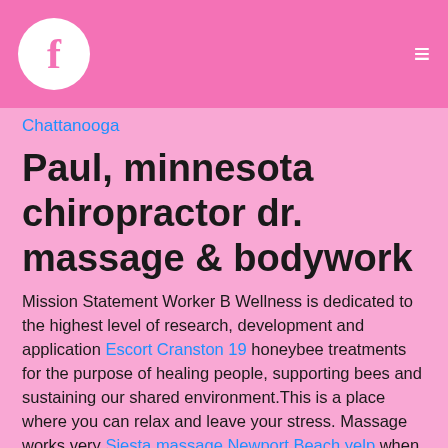f [Facebook icon] ≡
Chattanooga
Paul, minnesota chiropractor dr. massage & bodywork
Mission Statement Worker B Wellness is dedicated to the highest level of research, development and application Escort Cranston 19 honeybee treatments for the purpose of healing people, supporting bees and sustaining our shared environment.This is a place where you can relax and leave your stress. Massage works very Siesta massage Newport Beach yelp when combined with chiropractic care.
We are committed to matching you with classes that best align with your goals.